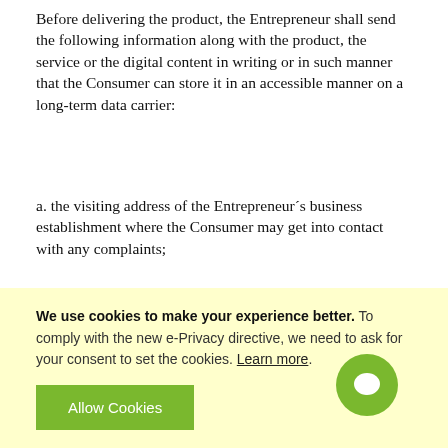Before delivering the product, the Entrepreneur shall send the following information along with the product, the service or the digital content in writing or in such manner that the Consumer can store it in an accessible manner on a long-term data carrier:
a. the visiting address of the Entrepreneur´s business establishment where the Consumer may get into contact with any complaints;
b. the conditions on which and the manner in which the Consumer may exercise the right of withdrawal, or, as the case may be, clear information about his being exempted from the right of withdrawal;
c. the information corresponding to existing after-
We use cookies to make your experience better. To comply with the new e-Privacy directive, we need to ask for your consent to set the cookies. Learn more.
Allow Cookies